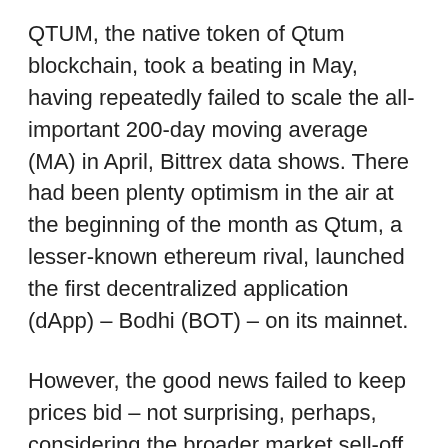QTUM, the native token of Qtum blockchain, took a beating in May, having repeatedly failed to scale the all-important 200-day moving average (MA) in April, Bittrex data shows. There had been plenty optimism in the air at the beginning of the month as Qtum, a lesser-known ethereum rival, launched the first decentralized application (dApp) – Bodhi (BOT) – on its mainnet.
However, the good news failed to keep prices bid – not surprising, perhaps, considering the broader market sell-off and the technical failure at the key long-term moving average.